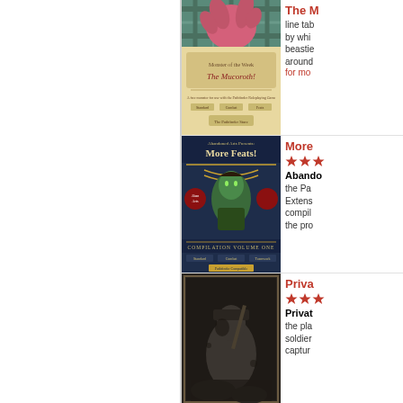[Figure (illustration): Cover of 'Monster of the Week: The Mucoroth!' showing a pink/red creature on a parchment-style background with teal/green plaid pattern at top]
The M... line tab... by whi... beastie... around... for mo...
[Figure (illustration): Cover of 'More Feats! Abandoned Arts Presents - Compilation Volume One' showing a green-skinned female character on dark navy background]
More...
Abando... the Pa... Extens... compil... the pro...
[Figure (illustration): Cover of 'Privat...' showing a dark, gritty illustration of a soldier/warrior figure in black and white]
Privat...
Privat... the pla... soldier... captur...